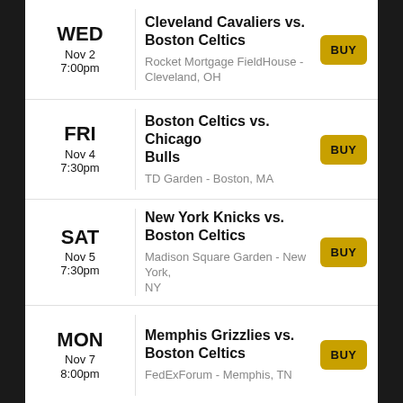WED Nov 2 7:00pm | Cleveland Cavaliers vs. Boston Celtics | Rocket Mortgage FieldHouse - Cleveland, OH | BUY
FRI Nov 4 7:30pm | Boston Celtics vs. Chicago Bulls | TD Garden - Boston, MA | BUY
SAT Nov 5 7:30pm | New York Knicks vs. Boston Celtics | Madison Square Garden - New York, NY | BUY
MON Nov 7 8:00pm | Memphis Grizzlies vs. Boston Celtics | FedExForum - Memphis, TN | BUY
WED (partial)